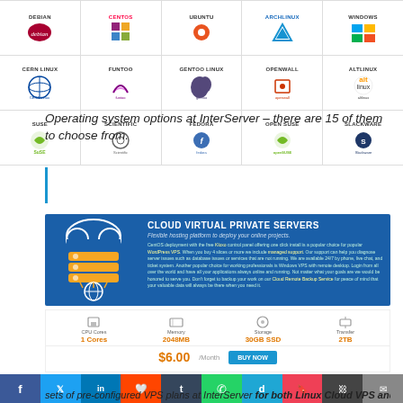[Figure (screenshot): Grid of Linux OS logos: Row 1 partial (debian, CentOS, ubuntu, archlinux, Windows). Row 2: CERN LINUX, FUNTOO, GENTOO LINUX, OPENWALL, ALTLINUX. Row 3: SUSE, SCIENTIFIC, FEDORA, OPEN SUSE, SLACKWARE.]
Operating system options at InterServer – there are 15 of them to choose from.
[Figure (screenshot): Cloud Virtual Private Servers banner with blue background, cloud and server stack illustration on left, text on right about CentOS deployment with Kloxo control panel, WordPress VPS managed support, Cloud Remote Backup Service.]
[Figure (screenshot): VPS pricing strip showing CPU Cores: 1 Cores, Memory: 2048MB, Storage: 30GB SSD, Transfer: 2TB, price $6.00/Month with BUY NOW button.]
[Figure (screenshot): Social sharing bar with Facebook, Twitter, LinkedIn, Reddit, Tumblr, WhatsApp, Digg, Pocket, Copy Link, Email icons, plus share and add buttons.]
sets of pre-configured VPS plans at InterServer for both Linux Cloud VPS and Windows Cloud VPS. Users can choose